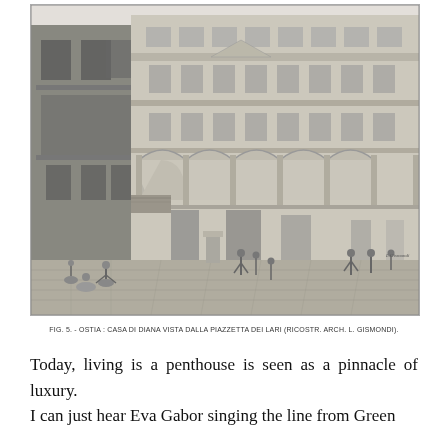[Figure (illustration): Black and white architectural illustration of the Casa di Diana in Ostia, viewed from the Piazzetta dei Lari. Shows a multi-story Roman insula building with arched arcades on the ground floor, multiple floors with windows, and figures of people in the foreground on a cobblestone piazza.]
Fig. 5. - OSTIA: CASA DI DIANA VISTA DALLA PIAZZETTA DEI LARI (RICOSTR. ARCH. L. GISMONDI).
Today, living is a penthouse is seen as a pinnacle of luxury.
I can just hear Eva Gabor singing the line from Green